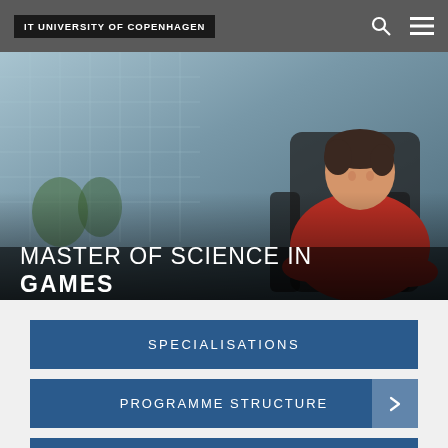IT UNIVERSITY OF COPENHAGEN
[Figure (photo): A woman in a red sweater sitting in a large black chair, smiling, with a glass building in the background. Text overlay reads 'MASTER OF SCIENCE IN GAMES']
MASTER OF SCIENCE IN GAMES
SPECIALISATIONS
PROGRAMME STRUCTURE
WHO STUDIES GAMES?